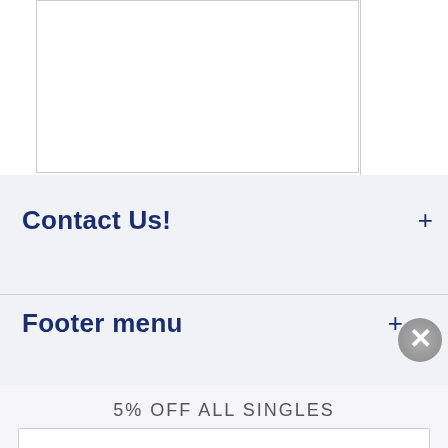[Figure (screenshot): Partial screenshot of a web page showing a bordered white content box in the upper portion, a light gray background area below it.]
Contact Us!
Footer menu
5% OFF ALL SINGLES
ACTIVATE DISCOUNT